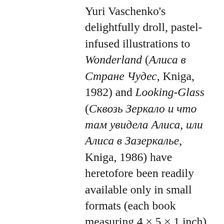Yuri Vaschenko's delightfully droll, pastel-infused illustrations to Wonderland (Алиса в Стране Чудес, Kniga, 1982) and Looking-Glass (Сквозь Зеркало и что там увидела Алиса, или Алиса в Зазеркалье, Kniga, 1986) have heretofore been readily available only in small formats (each book measuring 4 × 5 × 1 inch). In 2015, Vita Nova republished these works together in a deluxe, superbly printed large format (7½ × 10½ × 1½ inches) that at long last does justice to Vaschenko's witty, hyper-surreal, and splendidly stylized art (ISBN: 978-5-93898-506-3). The perfectly reproduced illustrations